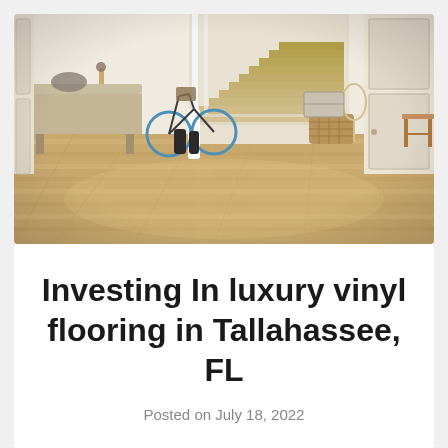[Figure (photo): Interior room photo showing a bright entryway/hallway with light wood-look luxury vinyl plank flooring. Features a weathered wood console table with decorative items, a vintage bicycle, white staircase with carpet treads, wicker basket with tennis racket, white paneled door, and a wooden stool on the right.]
Investing In luxury vinyl flooring in Tallahassee, FL
Posted on July 18, 2022